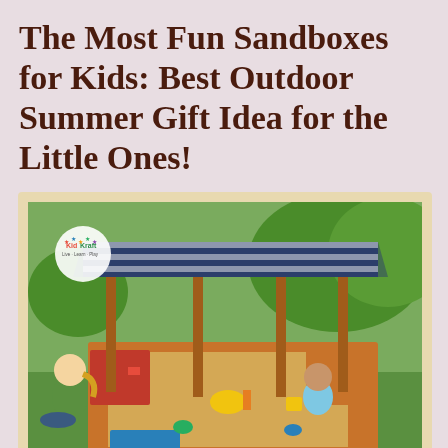The Most Fun Sandboxes for Kids: Best Outdoor Summer Gift Idea for the Little Ones!
[Figure (photo): Two young children playing in a large KidKraft wooden sandbox with a navy and white striped canopy cover. The sandbox has colorful plastic toys and divided sections. The product is set on green grass outdoors with trees in the background. The KidKraft logo is visible in the upper left of the image.]